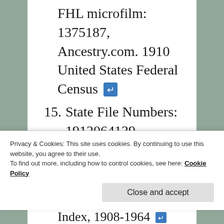FHL microfilm: 1375187, Ancestry.com. 1910 United States Federal Census [link]
15. State File Numbers: 1912064139, 1912064140, Additional Information: Raymont, Ancestry.com. Ohio, Birth Index, 1908-1964. [link]
Privacy & Cookies: This site uses cookies. By continuing to use this website, you agree to their use. To find out more, including how to control cookies, see here: Cookie Policy
Close and accept
Index, 1908-1964 [link]